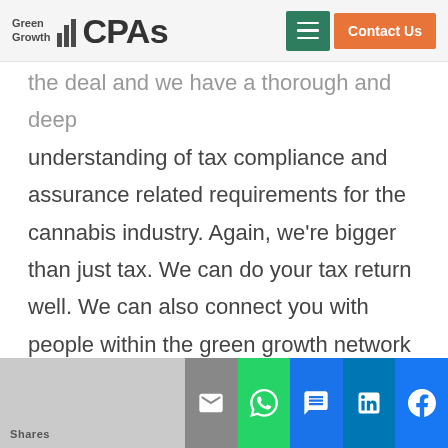Green Growth CPAs — Contact Us
the deal and we have a thorough and deep understanding of tax compliance and assurance related requirements for the cannabis industry. Again, we're bigger than just tax. We can do your tax return well. We can also connect you with people within the green growth network to help you expand your business, potentially sell your business or any other thing that has to do with cash and cannabis. We can help out with that transaction or with that business arrangement. And lastly, before we hop into today's agenda, I need conta
Shares — email, whatsapp, sms, linkedin, facebook